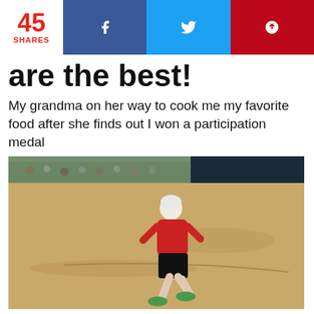45 SHARES | f | twitter | pinterest
are the best!
My grandma on her way to cook me my favorite food after she finds out I won a participation medal
[Figure (photo): An elderly person with white hair wearing a red shirt and black shorts running across a dry sandy field at what appears to be a sporting event, with bleachers visible in the background.]
“My grandma is on her way to cook me my favorite food